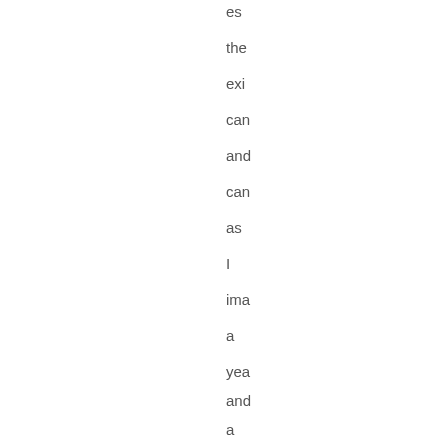es
the
exi
can
and
can
as
I
ima
a
yea
and
a
hal
pri
Sh
is
'on